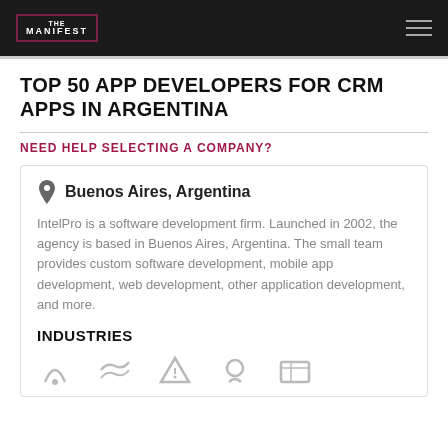THE MANIFEST
TOP 50 APP DEVELOPERS FOR CRM APPS IN ARGENTINA
NEED HELP SELECTING A COMPANY?
Buenos Aires, Argentina
IntelPro is a software development firm. Launched in 2002, the agency is based in Buenos Aires, Argentina. The small team provides custom software development, mobile app development, web development, other application development, and more.
INDUSTRIES
[Figure (other): Row of small industry icon illustrations at the bottom of the card]